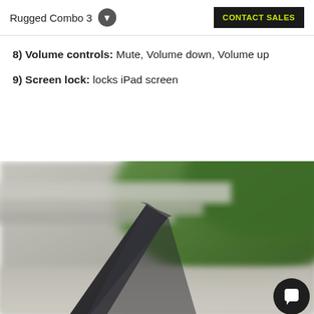Rugged Combo 3  CONTACT SALES
8) Volume controls: Mute, Volume down, Volume up
9) Screen lock: locks iPad screen
[Figure (photo): Photo of an iPad in a dark gray Rugged Combo 3 case, propped up in a tent-like position on a concrete surface outdoors, with blurred greenery and stone steps in the background. A chat bubble icon is visible in the bottom-right corner.]